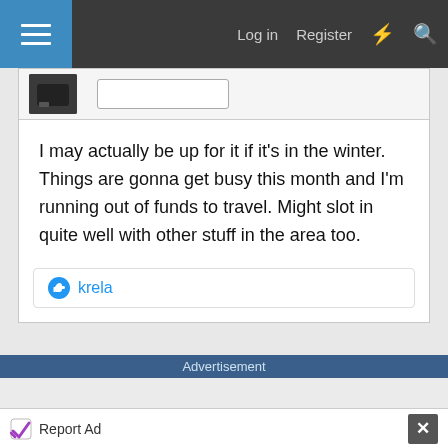Log in  Register
[Figure (screenshot): Forum post avatar thumbnail showing a dark background]
I may actually be up for it if it's in the winter. Things are gonna get busy this month and I'm running out of funds to travel. Might slot in quite well with other stuff in the area too.
krela
Advertisement
Report Ad